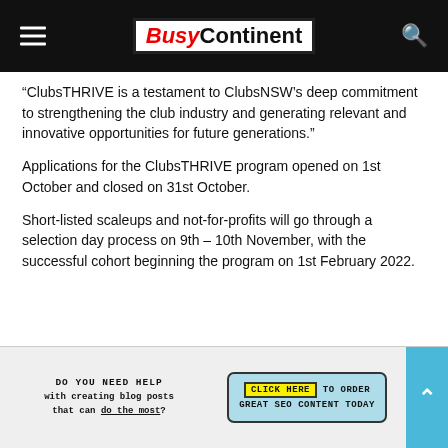BusyContinent
“ClubsTHRIVE is a testament to ClubsNSW’s deep commitment to strengthening the club industry and generating relevant and innovative opportunities for future generations.”
Applications for the ClubsTHRIVE program opened on 1st October and closed on 31st October.
Short-listed scaleups and not-for-profits will go through a selection day process on 9th – 10th November, with the successful cohort beginning the program on 1st February 2022.
[Figure (infographic): Advertisement banner: 'DO YOU NEED HELP with creating blog posts that can do the most?' with a button 'CLICK HERE TO ORDER GREAT SEO CONTENT TODAY']